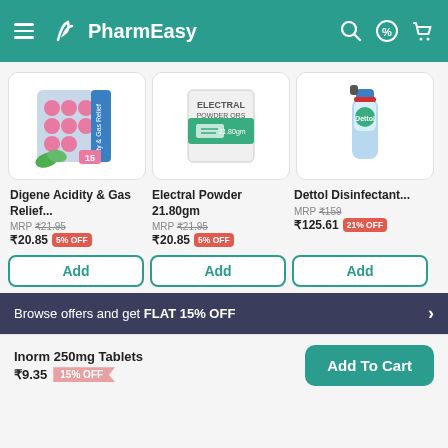PharmEasy
[Figure (photo): Digene Acidity & Gas Relief tablet blister pack with pink tablets and green leaves]
[Figure (photo): Electral Powder 21.80gm packet in white and green packaging]
[Figure (photo): Dettol Disinfectant spray bottle in blue and green]
Digene Acidity & Gas Relief...
MRP ₹21.95
₹20.85  5% OFF
Electral Powder 21.80gm
MRP ₹21.95
₹20.85  5% OFF
Dettol Disinfectant...
MRP ₹159
₹125.61  21% OFF
Browse offers and get FLAT 15% OFF
Inorm 250mg Tablets
₹9.35  15% OFF
Add To Cart